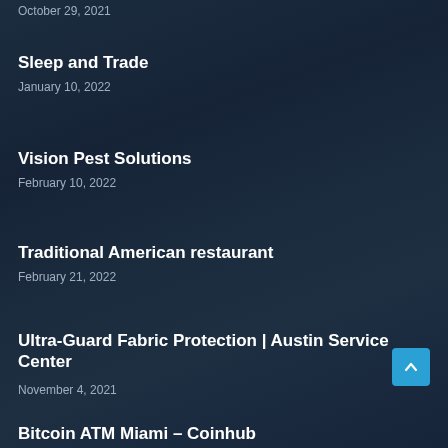October 29, 2021
Sleep and Trade
January 10, 2022
Vision Pest Solutions
February 10, 2022
Traditional American restaurant
February 21, 2022
Ultra-Guard Fabric Protection | Austin Service Center
November 4, 2021
Bitcoin ATM Miami – Coinhub